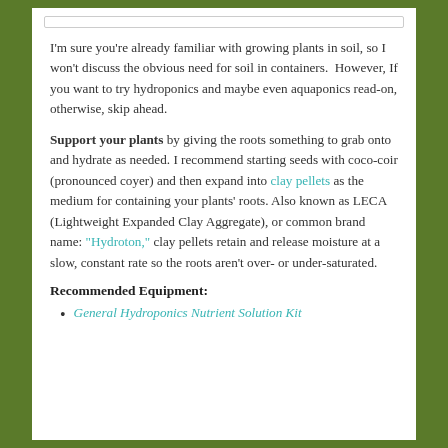I'm sure you're already familiar with growing plants in soil, so I won't discuss the obvious need for soil in containers. However, If you want to try hydroponics and maybe even aquaponics read-on, otherwise, skip ahead.
Support your plants by giving the roots something to grab onto and hydrate as needed. I recommend starting seeds with coco-coir (pronounced coyer) and then expand into clay pellets as the medium for containing your plants' roots. Also known as LECA (Lightweight Expanded Clay Aggregate), or common brand name: "Hydroton," clay pellets retain and release moisture at a slow, constant rate so the roots aren't over- or under-saturated.
Recommended Equipment:
General Hydroponics Nutrient Solution Kit